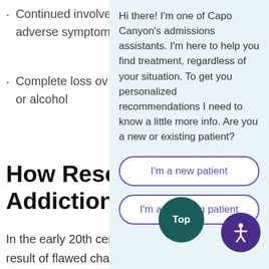Continued involvement despite adverse symptoms
Complete loss of control over use of drugs or alcohol
Hi there! I'm one of Capo Canyon's admissions assistants. I'm here to help you find treatment, regardless of your situation. To get you personalized recommendations I need to know a little more info. Are you a new or existing patient?
I'm a new patient
I'm an existing patient
How Research Addiction h
In the early 20th century, researchers n taking a closer look at the causes of addiction that it was the result of flawed character or lack of